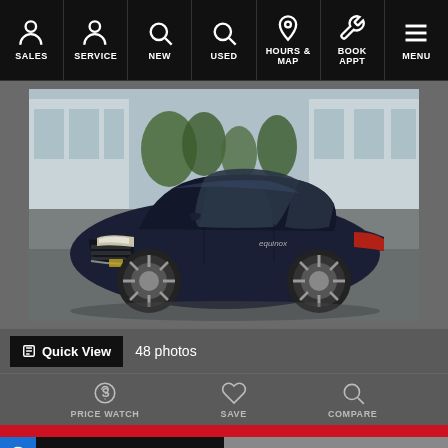SALES | SERVICE | NEW | USED | HOURS & MAP | BOOK APPT | MENU
[Figure (photo): Dark navy blue Chevrolet Equinox SUV parked in front of a dealership building, three-quarter front view]
Quick View   48 photos
PRICE WATCH   SAVE   COMPARE
Text Us   Chat Now